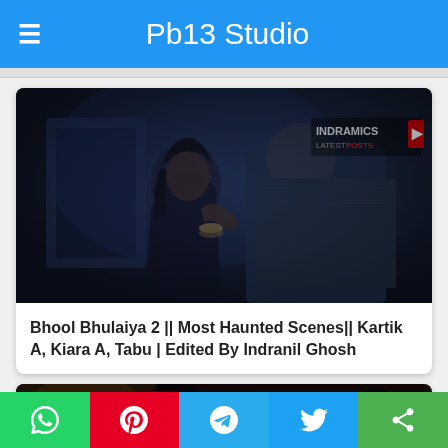Pb13 Studio
[Figure (photo): Dark scene from Bollywood movie Bhool Bhulaiya 2 showing two people in a dramatic embrace with INDRAMICS watermark in top right corner]
Bhool Bhulaiya 2 || Most Haunted Scenes|| Kartik A, Kiara A, Tabu | Edited By Indranil Ghosh
[Figure (photo): Partial view of Bhool Bhulaiya movie poster with text 'Bhool' visible]